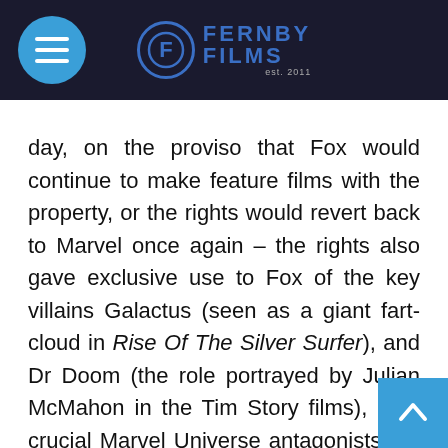Fernby Films
day, on the proviso that Fox would continue to make feature films with the property, or the rights would revert back to Marvel once again – the rights also gave exclusive use to Fox of the key villains Galactus (seen as a giant fart-cloud in Rise Of The Silver Surfer), and Dr Doom (the role portrayed by Julian McMahon in the Tim Story films), both crucial Marvel Universe antagonists the now white-hot studio would love to insert into their MCU films at some stage. Fox, known for their conflicting, combative methodology against Marvel, already had the X-Men franchise of characters in their pantheon, and recognized ubiquitous Comic Book Movie had opportunities to make big bank at the box office